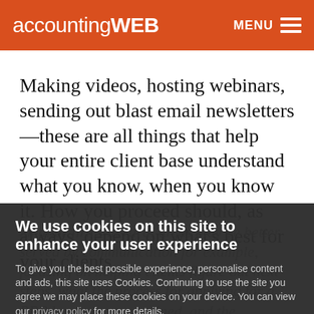accountingWEB  MENU
Making videos, hosting webinars, sending out blast email newsletters—these are all things that help your entire client base understand what you know, when you know it. How you proceed should, as always, depend on what's best for your clients.
We use cookies on this site to enhance your user experience
To give you the best possible experience, personalise content and ads, this site uses Cookies. Continuing to use the site you agree we may place these cookies on your device. You can view our privacy policy for more details.
No, give me more info
OK, I agree